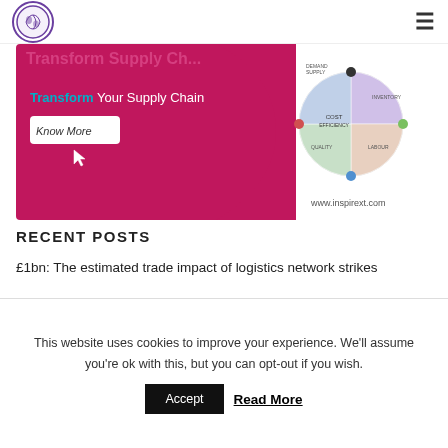Total Supply Chain Summit logo / hamburger menu
[Figure (illustration): Advertisement banner for inspirext.com showing 'Transform Your Supply Chain' with a pink/magenta background, a 'Know More' button with cursor icon, and a supply chain diagram wheel on the right side showing DEMAND/SUPPLY, COST EFFICIENCY, INVENTORY, QUALITY, LABOUR labels. URL: www.inspirext.com]
RECENT POSTS
£1bn: The estimated trade impact of logistics network strikes
There are four ways Chief Supply Chain Officers can manage
This website uses cookies to improve your experience. We'll assume you're ok with this, but you can opt-out if you wish.
Accept   Read More